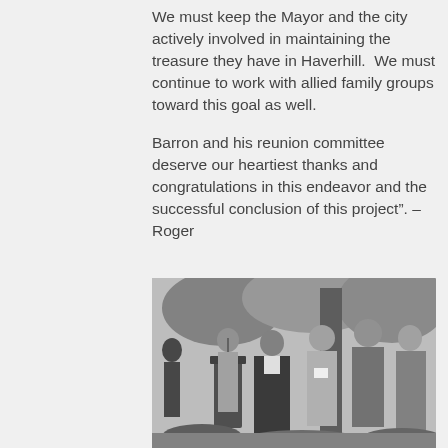We must keep the Mayor and the city actively involved in maintaining the treasure they have in Haverhill.  We must continue to work with allied family groups toward this goal as well.
Barron and his reunion committee deserve our heartiest thanks and congratulations in this endeavor and the successful conclusion of this project". – Roger
[Figure (photo): Black and white photograph of a group of people standing outdoors near a tree. A man at a podium appears to be speaking, flanked by several other attendees including a woman in a dark robe or habit, and other men and women standing listening.]